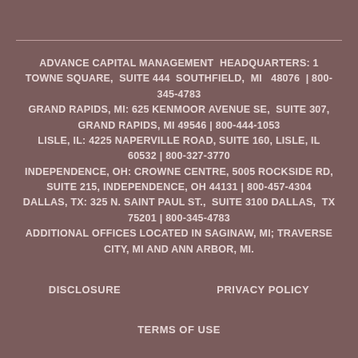ADVANCE CAPITAL MANAGEMENT HEADQUARTERS: 1 TOWNE SQUARE, SUITE 444 SOUTHFIELD, MI 48076 | 800-345-4783 GRAND RAPIDS, MI: 625 KENMOOR AVENUE SE, SUITE 307, GRAND RAPIDS, MI 49546 | 800-444-1053 LISLE, IL: 4225 NAPERVILLE ROAD, SUITE 160, LISLE, IL 60532 | 800-327-3770 INDEPENDENCE, OH: CROWNE CENTRE, 5005 ROCKSIDE RD, SUITE 215, INDEPENDENCE, OH 44131 | 800-457-4304 DALLAS, TX: 325 N. SAINT PAUL ST., SUITE 3100 DALLAS, TX 75201 | 800-345-4783 ADDITIONAL OFFICES LOCATED IN SAGINAW, MI; TRAVERSE CITY, MI AND ANN ARBOR, MI.
DISCLOSURE   PRIVACY POLICY   TERMS OF USE